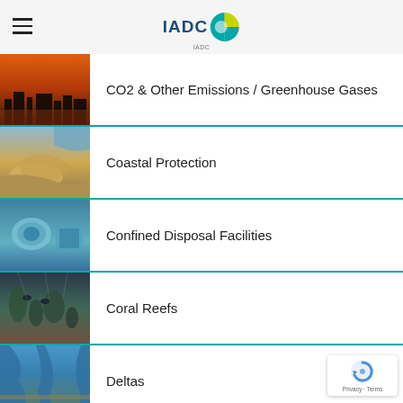IADC
CO2 & Other Emissions / Greenhouse Gases
Coastal Protection
Confined Disposal Facilities
Coral Reefs
Deltas